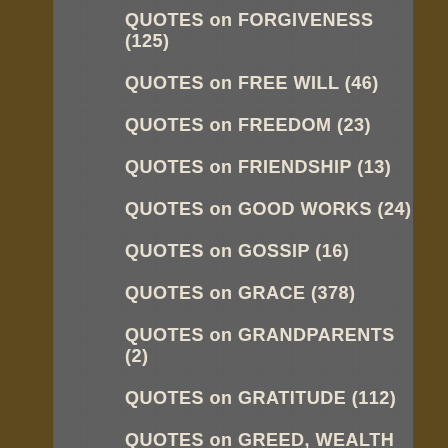QUOTES on FORGIVENESS (125)
QUOTES on FREE WILL (46)
QUOTES on FREEDOM (23)
QUOTES on FRIENDSHIP (13)
QUOTES on GOOD WORKS (24)
QUOTES on GOSSIP (16)
QUOTES on GRACE (378)
QUOTES on GRANDPARENTS (2)
QUOTES on GRATITUDE (112)
QUOTES on GREED, WEALTH (28)
QUOTES on HAPPINESS (39)
QUOTES on HEAVEN (252)
QUOTES on HELL (98)